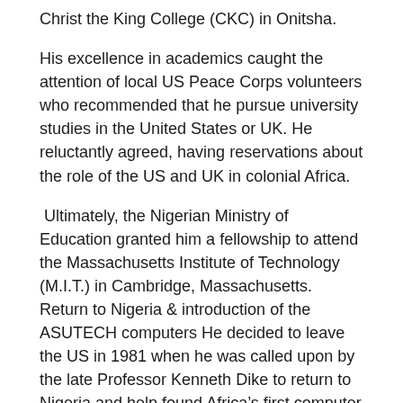Christ the King College (CKC) in Onitsha.
His excellence in academics caught the attention of local US Peace Corps volunteers who recommended that he pursue university studies in the United States or UK. He reluctantly agreed, having reservations about the role of the US and UK in colonial Africa.
Ultimately, the Nigerian Ministry of Education granted him a fellowship to attend the Massachusetts Institute of Technology (M.I.T.) in Cambridge, Massachusetts. Return to Nigeria & introduction of the ASUTECH computers He decided to leave the US in 1981 when he was called upon by the late Professor Kenneth Dike to return to Nigeria and help found Africa’s first computer technology university, Anambra State University of Science & Technology , ASUTECH.
At ASUTECH, he served as head of the Industrial